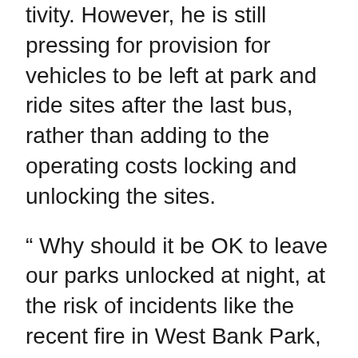tivity. However, he is still pressing for provision for vehicles to be left at park and ride sites after the last bus, rather than adding to the operating costs locking and unlocking the sites.
" Why should it be OK to leave our parks unlocked at night, at the risk of incidents like the recent fire in West Bank Park, but not for Park and Ride sites to be left unlocked?" said Cllr D'Agorne.
As a minimum he believes there should be an option for booked weekend parking. " Providing weekend parking outside the city